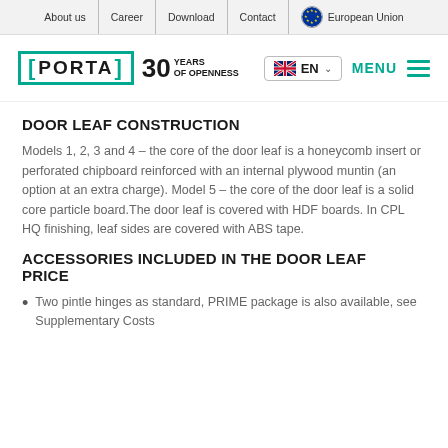About us | Career | Download | Contact | European Union
[Figure (logo): Porta logo with bracket design and '30 Years of Openness' text, navigation with EN language selector and MENU hamburger button]
DOOR LEAF CONSTRUCTION
Models 1, 2, 3 and 4 – the core of the door leaf is a honeycomb insert or perforated chipboard reinforced with an internal plywood muntin (an option at an extra charge). Model 5 – the core of the door leaf is a solid core particle board.The door leaf is covered with HDF boards. In CPL HQ finishing, leaf sides are covered with ABS tape.
ACCESSORIES INCLUDED IN THE DOOR LEAF PRICE
Two pintle hinges as standard, PRIME package is also available, see Supplementary Costs